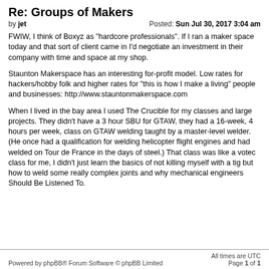Re: Groups of Makers
by jet Posted: Sun Jul 30, 2017 3:04 am
FWIW, I think of Boxyz as "hardcore professionals". If I ran a maker space today and that sort of client came in I'd negotiate an investment in their company with time and space at my shop.
Staunton Makerspace has an interesting for-profit model. Low rates for hackers/hobby folk and higher rates for "this is how I make a living" people and businesses: http://www.stauntonmakerspace.com
When I lived in the bay area I used The Crucible for my classes and large projects. They didn't have a 3 hour SBU for GTAW, they had a 16-week, 4 hours per week, class on GTAW welding taught by a master-level welder. (He once had a qualification for welding helicopter flight engines and had welded on Tour de France in the days of steel.) That class was like a votec class for me, I didn't just learn the basics of not killing myself with a tig but how to weld some really complex joints and why mechanical engineers Should Be Listened To.
Powered by phpBB® Forum Software © phpBB Limited All times are UTC
Page 1 of 1